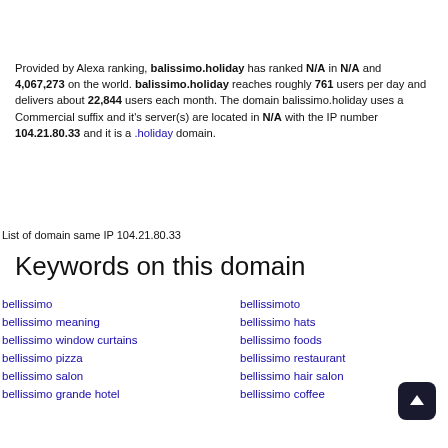Provided by Alexa ranking, balissimo.holiday has ranked N/A in N/A and 4,067,273 on the world. balissimo.holiday reaches roughly 761 users per day and delivers about 22,844 users each month. The domain balissimo.holiday uses a Commercial suffix and it's server(s) are located in N/A with the IP number 104.21.80.33 and it is a .holiday domain.
List of domain same IP 104.21.80.33
Keywords on this domain
bellissimo
bellissimoto
bellissimo meaning
bellissimo hats
bellissimo window curtains
bellissimo foods
bellissimo pizza
bellissimo restaurant
bellissimo salon
bellissimo hair salon
bellissimo grande hotel
bellissimo coffee